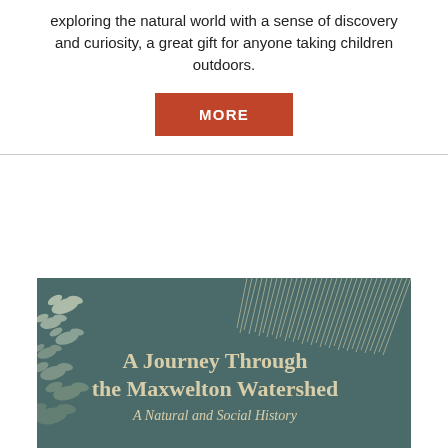exploring the natural world with a sense of discovery and curiosity, a great gift for anyone taking children outdoors.
MORE
[Figure (illustration): Book cover showing 'A Journey Through the Maxwelton Watershed: A Natural and Social History' on a dark teal background with illustrated birds and reed/grass imagery in white line art.]